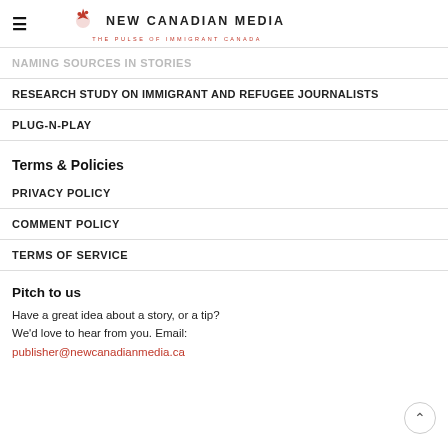New Canadian Media — The Pulse of Immigrant Canada
NAMING SOURCES IN STORIES
RESEARCH STUDY ON IMMIGRANT AND REFUGEE JOURNALISTS
PLUG-N-PLAY
Terms & Policies
PRIVACY POLICY
COMMENT POLICY
TERMS OF SERVICE
Pitch to us
Have a great idea about a story, or a tip? We'd love to hear from you. Email:
publisher@newcanadianmedia.ca